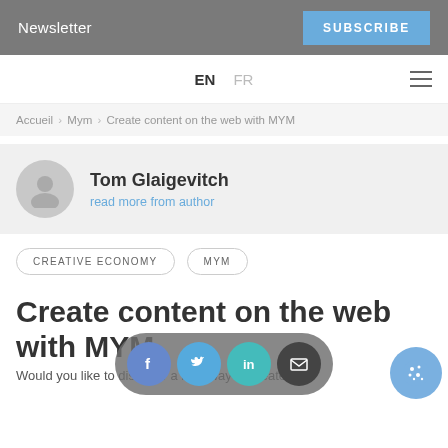Newsletter   SUBSCRIBE
EN   FR
Accueil > Mym > Create content on the web with MYM
Tom Glaigevitch
read more from author
CREATIVE ECONOMY
MYM
Create content on the web with MYM
Would you like to discover a new way to create